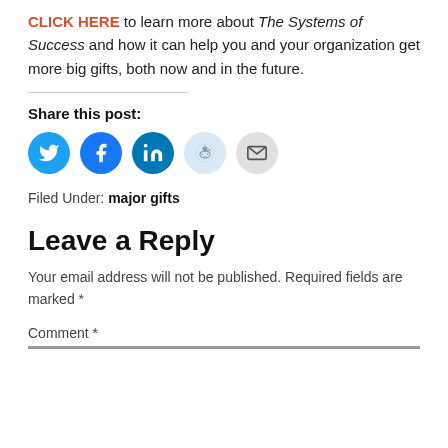CLICK HERE to learn more about The Systems of Success and how it can help you and your organization get more big gifts, both now and in the future.
Share this post:
[Figure (infographic): Row of social media share icon buttons: Twitter (blue bird), Facebook (blue f), LinkedIn (blue in), Reddit (light blue alien), Email (grey envelope)]
Filed Under: major gifts
Leave a Reply
Your email address will not be published. Required fields are marked *
Comment *